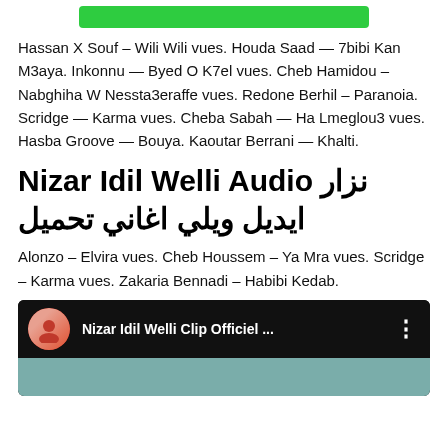[Figure (other): Green rounded button bar at the top]
Hassan X Souf – Wili Wili vues. Houda Saad — 7bibi Kan M3aya. Inkonnu — Byed O K7el vues. Cheb Hamidou – Nabghiha W Nessta3eraffe vues. Redone Berhil – Paranoia. Scridge — Karma vues. Cheba Sabah — Ha Lmeglou3 vues. Hasba Groove — Bouya. Kaoutar Berrani — Khalti.
Nizar Idil Welli Audio نزار ايديل ويلي اغاني تحميل
Alonzo – Elvira vues. Cheb Houssem – Ya Mra vues. Scridge – Karma vues. Zakaria Bennadi – Habibi Kedab.
[Figure (screenshot): Video thumbnail showing Nizar Idil Welli Clip Officiel ... with avatar and three-dot menu on dark background]